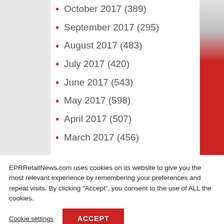October 2017 (389)
September 2017 (295)
August 2017 (483)
July 2017 (420)
June 2017 (543)
May 2017 (598)
April 2017 (507)
March 2017 (456)
EPRRetailNews.com uses cookies on its website to give you the most relevant experience by remembering your preferences and repeat visits. By clicking “Accept”, you consent to the use of ALL the cookies.
Cookie settings
ACCEPT